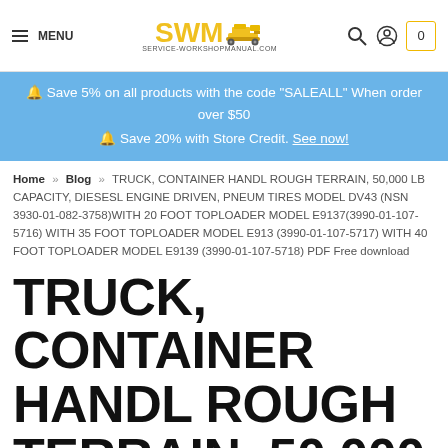MENU | SWM SERVICE-WORKSHOPMANUAL.COM | search | account | 0
🔔 Save 5% on all products with the code "SALEALL" When order over $50
🔔 Save 20% with Store Credit. See now!
Home » Blog » TRUCK, CONTAINER HANDL ROUGH TERRAIN, 50,000 LB CAPACITY, DIESESL ENGINE DRIVEN, PNEUM TIRES MODEL DV43 (NSN 3930-01-082-3758)WITH 20 FOOT TOPLOADER MODEL E9137(3990-01-107-5716) WITH 35 FOOT TOPLOADER MODEL E913 (3990-01-107-5717) WITH 40 FOOT TOPLOADER MODEL E9139 (3990-01-107-5718) PDF Free download
TRUCK, CONTAINER HANDL ROUGH TERRAIN, 50,000 LB CAPACITY, DIESES L